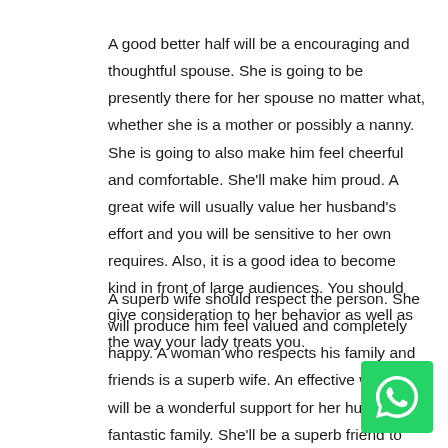A good better half will be a encouraging and thoughtful spouse. She is going to be presently there for her spouse no matter what, whether she is a mother or possibly a nanny. She is going to also make him feel cheerful and comfortable. She'll make him proud. A great wife will usually value her husband's effort and you will be sensitive to her own requires. Also, it is a good idea to become kind in front of large audiences. You should give consideration to her behavior as well as the way your lady treats you.
A superb wife should respect the person. She will produce him feel valued and completely happy. A woman who respects his family and friends is a superb wife. An effective woman will be a wonderful support for her husband fantastic family. She'll be a superb friend to both of them. She'll also help you stay fit. She will be described as a source of peace of mind for your hubby. And she'll be a valuable asset for her children and her husband.
LIKE THIS: